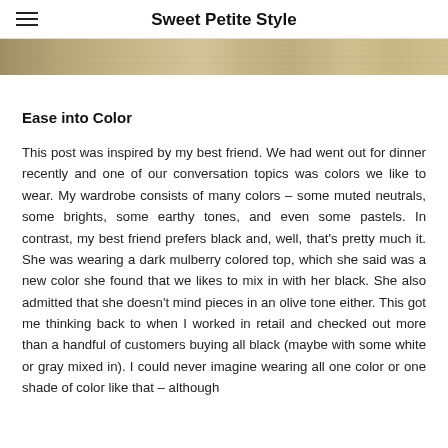Sweet Petite Style
[Figure (photo): Cropped bottom edge of a textile or woven fabric image with tan/khaki tones]
Ease into Color
This post was inspired by my best friend. We had went out for dinner recently and one of our conversation topics was colors we like to wear. My wardrobe consists of many colors – some muted neutrals, some brights, some earthy tones, and even some pastels. In contrast, my best friend prefers black and, well, that's pretty much it. She was wearing a dark mulberry colored top, which she said was a new color she found that we likes to mix in with her black. She also admitted that she doesn't mind pieces in an olive tone either. This got me thinking back to when I worked in retail and checked out more than a handful of customers buying all black (maybe with some white or gray mixed in). I could never imagine wearing all one color or one shade of color like that – although